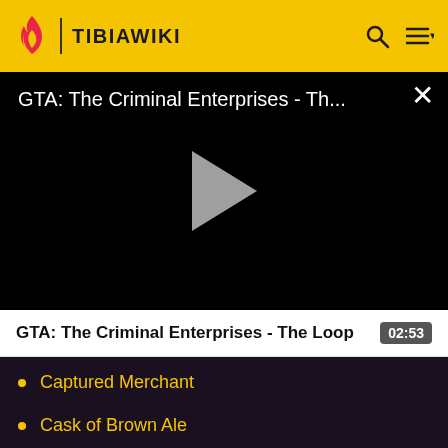TIBIAWIKI
[Figure (screenshot): Video player showing GTA: The Criminal Enterprises - Th... with a play button and close button]
GTA: The Criminal Enterprises - The Loop   02:53
Captured Merchant
Cask of Brown Ale
Cat Basket
Charmed Shortsword (partially visible)